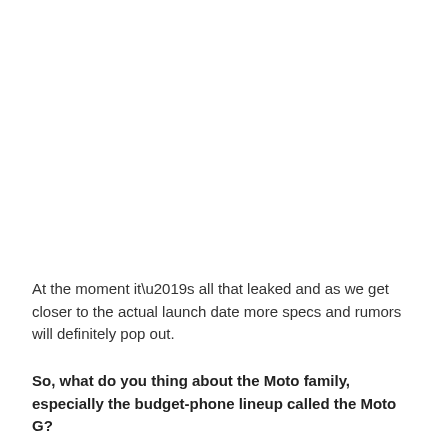At the moment it’s all that leaked and as we get closer to the actual launch date more specs and rumors will definitely pop out.
So, what do you thing about the Moto family, especially the budget-phone lineup called the Moto G?
Source